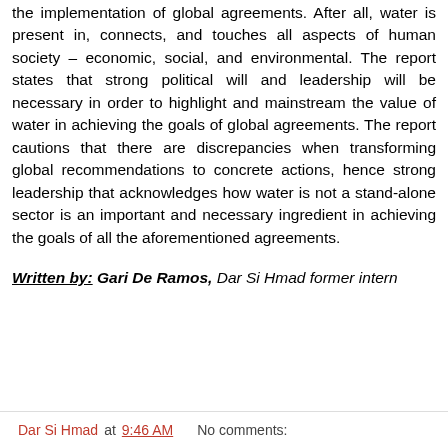the implementation of global agreements. After all, water is present in, connects, and touches all aspects of human society – economic, social, and environmental. The report states that strong political will and leadership will be necessary in order to highlight and mainstream the value of water in achieving the goals of global agreements. The report cautions that there are discrepancies when transforming global recommendations to concrete actions, hence strong leadership that acknowledges how water is not a stand-alone sector is an important and necessary ingredient in achieving the goals of all the aforementioned agreements.
Written by: Gari De Ramos, Dar Si Hmad former intern
Dar Si Hmad at 9:46 AM   No comments: